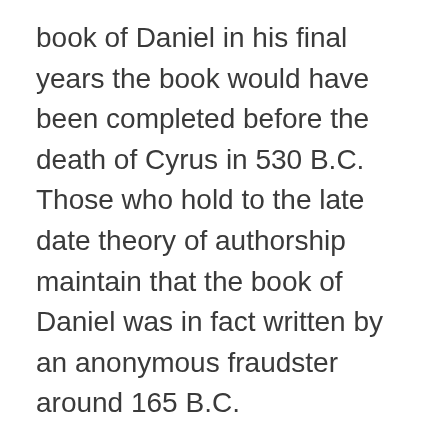book of Daniel in his final years the book would have been completed before the death of Cyrus in 530 B.C. Those who hold to the late date theory of authorship maintain that the book of Daniel was in fact written by an anonymous fraudster around 165 B.C.
The “late date” theory maintains that the real author of Daniel fraudulently took past events and